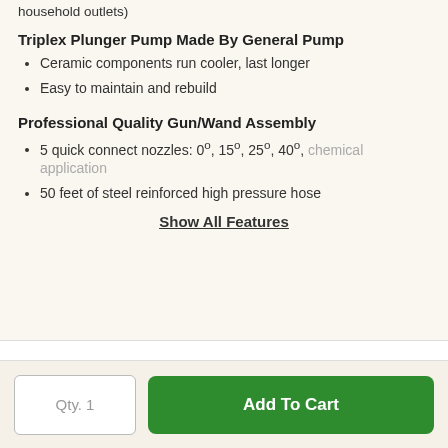household outlets)
Triplex Plunger Pump Made By General Pump
Ceramic components run cooler, last longer
Easy to maintain and rebuild
Professional Quality Gun/Wand Assembly
5 quick connect nozzles: 0°, 15°, 25°, 40°, chemical application
50 feet of steel reinforced high pressure hose
Show All Features
Specifications
Qty. 1
Add To Cart